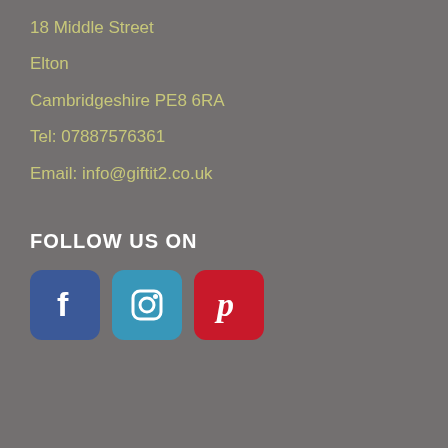18 Middle Street
Elton
Cambridgeshire PE8 6RA
Tel: 07887576361
Email: info@giftit2.co.uk
FOLLOW US ON
[Figure (logo): Three social media icons: Facebook (blue rounded square with white f), Instagram (teal/blue rounded square with white camera icon), Pinterest (red rounded square with white P icon)]